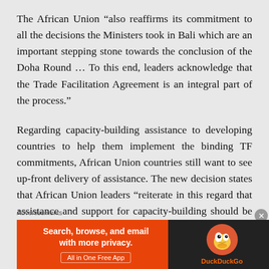The African Union “also reaffirms its commitment to all the decisions the Ministers took in Bali which are an important stepping stone towards the conclusion of the Doha Round … To this end, leaders acknowledge that the Trade Facilitation Agreement is an integral part of the process.”
Regarding capacity-building assistance to developing countries to help them implement the binding TF commitments, African Union countries still want to see up-front delivery of assistance. The new decision states that African Union leaders “reiterate in this regard that assistance and support for capacity-building should be provided as envisaged in the Trade…
Advertisements
[Figure (other): DuckDuckGo advertisement banner with orange left section reading 'Search, browse, and email with more privacy. All in One Free App' and dark right section with DuckDuckGo duck logo and brand name.]